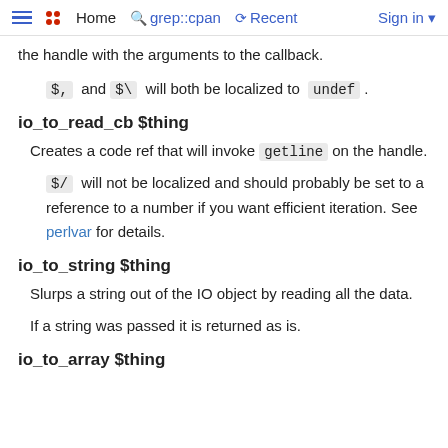Home  grep::cpan  Recent  Sign in
the handle with the arguments to the callback.
$,  and $\  will both be localized to  undef .
io_to_read_cb $thing
Creates a code ref that will invoke  getline  on the handle.
$/  will not be localized and should probably be set to a reference to a number if you want efficient iteration. See  perlvar  for details.
io_to_string $thing
Slurps a string out of the IO object by reading all the data.
If a string was passed it is returned as is.
io_to_array $thing